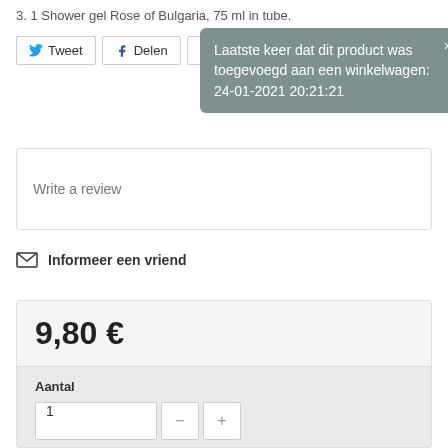3. 1 Shower gel Rose of Bulgaria, 75 ml in tube.
Tweet  Delen  Pinterest
Laatste keer dat dit product was toegevoegd aan een winkelwagen: 24-01-2021 20:21:21
Write a review
Informeer een vriend
9,80 €
Aantal
1